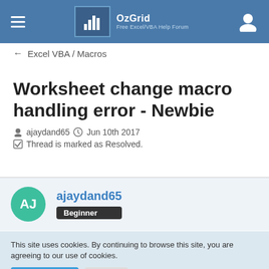OzGrid — Free Excel/VBA Help Forum
← Excel VBA / Macros
Worksheet change macro handling error - Newbie
ajaydand65  Jun 10th 2017
Thread is marked as Resolved.
ajaydand65 — Beginner
This site uses cookies. By continuing to browse this site, you are agreeing to our use of cookies.